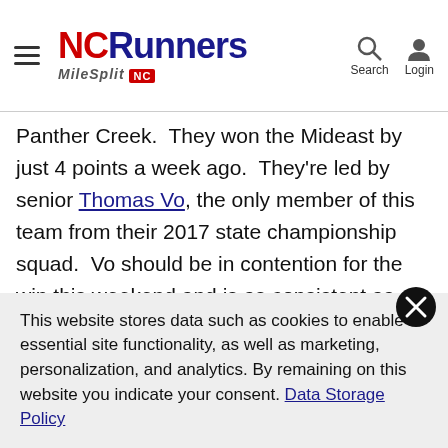NCRunners MileSplit NC — Search, Login
Panther Creek.  They won the Mideast by just 4 points a week ago.  They're led by senior Thomas Vo, the only member of this team from their 2017 state championship squad.  Vo should be in contention for the win this weekend and is as consistent as you could ask for.  Behind Vo, Green Hope has a tight pack from 2-6 that has changed throughout the season.  Liam McBride, Michael Taylor, Kyle Davis-Isaac, Ben Cale and Seth Young have all stepped up for the Falcons throughout the season.  They have a 21 second gap from 2-5 on the season and a 24 second gap from 2-6
This website stores data such as cookies to enable essential site functionality, as well as marketing, personalization, and analytics. By remaining on this website you indicate your consent. Data Storage Policy